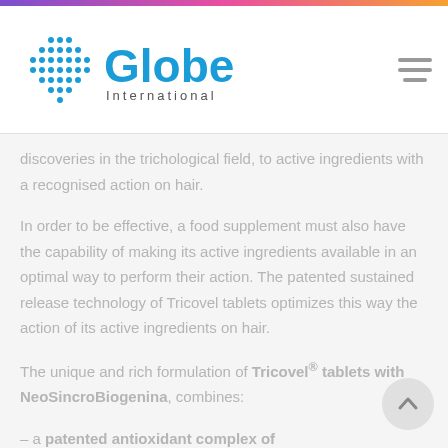[Figure (logo): Globe International logo with blue dot-globe graphic and 'Globe International' text]
discoveries in the trichological field, to active ingredients with a recognised action on hair.
In order to be effective, a food supplement must also have the capability of making its active ingredients available in an optimal way to perform their action. The patented sustained release technology of Tricovel tablets optimizes this way the action of its active ingredients on hair.
The unique and rich formulation of Tricovel® tablets with NeoSincroBiogenina, combines:
– a patented antioxidant complex of